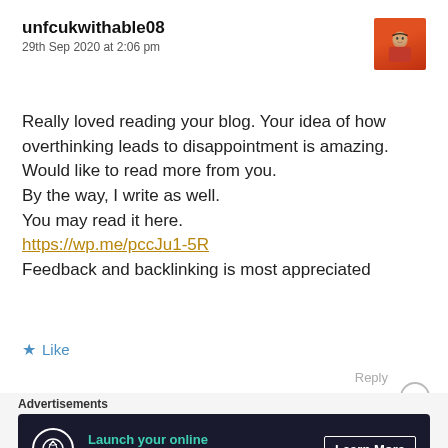unfcukwithable08
29th Sep 2020 at 2:06 pm
[Figure (photo): User avatar/profile picture of a man wearing a red jacket]
Really loved reading your blog. Your idea of how overthinking leads to disappointment is amazing. Would like to read more from you.
By the way, I write as well.
You may read it here.
https://wp.me/pccJu1-5R
Feedback and backlinking is most appreciated
Like
Reply
Advertisements
[Figure (infographic): WordPress ad banner: Launch your online course with WordPress — Learn More]